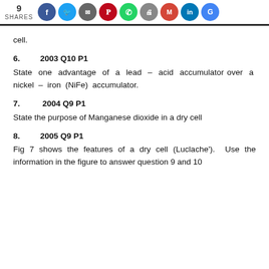9 SHARES [social share icons: Facebook, Twitter, Bookmark, Pinterest, WhatsApp, Print, Gmail, LinkedIn, Google]
cell.
6.        2003 Q10 P1
State one advantage of a lead – acid accumulator over a nickel – iron (NiFe) accumulator.
7.        2004 Q9 P1
State the purpose of Manganese dioxide in a dry cell
8.        2005 Q9 P1
Fig 7 shows the features of a dry cell (Luclache').  Use the information in the figure to answer question 9 and 10